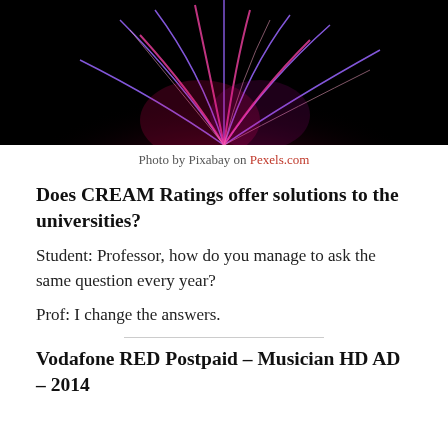[Figure (photo): A plasma ball with pink and purple electric arcs against a black background, cropped to show the lower half of the sphere.]
Photo by Pixabay on Pexels.com
Does CREAM Ratings offer solutions to the universities?
Student: Professor, how do you manage to ask the same question every year?
Prof: I change the answers.
Vodafone RED Postpaid – Musician HD AD – 2014